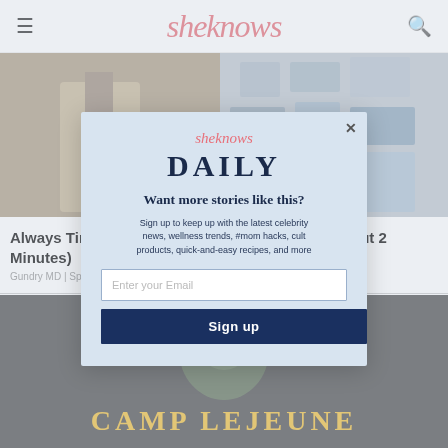sheknows
[Figure (photo): Background photo showing a man in a suit and a cracked stone or mosaic surface]
Always Tired? J... Takes About 2 Minutes)
Gundry MD | Sponso...
[Figure (photo): Lower banner image with 'CAMP LEJEUNE' text in yellow letters on dark background]
[Figure (screenshot): Modal popup for SheKnows Daily newsletter signup with email input and sign up button]
DAILY
Want more stories like this?
Sign up to keep up with the latest celebrity news, wellness trends, #mom hacks, cult products, quick-and-easy recipes, and more
Enter your Email
Sign up